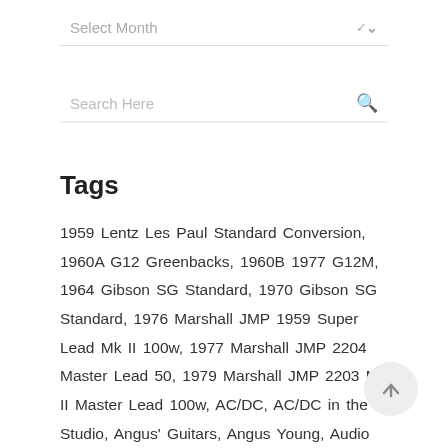Select Month
Search Here
Tags
1959 Lentz Les Paul Standard Conversion, 1960A G12 Greenbacks, 1960B 1977 G12M, 1964 Gibson SG Standard, 1970 Gibson SG Standard, 1976 Marshall JMP 1959 Super Lead Mk II 100w, 1977 Marshall JMP 2204 Master Lead 50, 1979 Marshall JMP 2203 Mk II Master Lead 100w, AC/DC, AC/DC in the Studio, Angus' Guitars, Angus Young, Audio Technica AT4047, Back in Black, Back